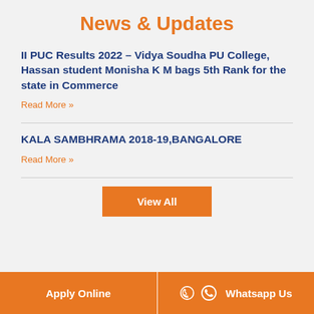News & Updates
II PUC Results 2022 – Vidya Soudha PU College, Hassan student Monisha K M bags 5th Rank for the state in Commerce
Read More »
KALA SAMBHRAMA 2018-19,BANGALORE
Read More »
View All
Apply Online   Whatsapp Us